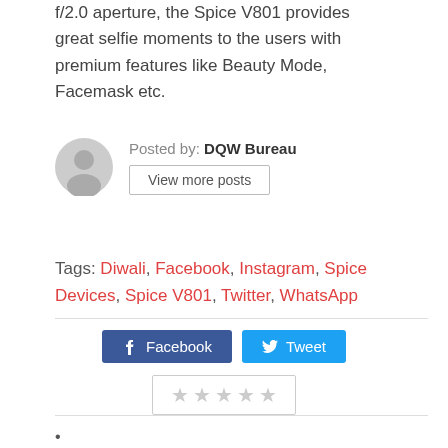f/2.0 aperture, the Spice V801 provides great selfie moments to the users with premium features like Beauty Mode, Facemask etc.
Posted by: DQW Bureau
View more posts
Tags: Diwali, Facebook, Instagram, Spice Devices, Spice V801, Twitter, WhatsApp
[Figure (illustration): Gray user avatar icon (circle with person silhouette)]
[Figure (other): Facebook share button (blue) and Twitter tweet button (blue), partially visible]
[Figure (other): Star rating widget showing 5 empty/gray stars in a bordered box]
•